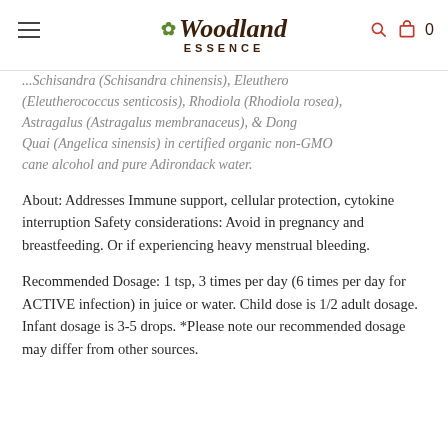Woodland Essence
...Schisandra (Schisandra chinensis), Eleuthero (Eleutherococcus senticosis), Rhodiola (Rhodiola rosea), Astragalus (Astragalus membranaceus), & Dong Quai (Angelica sinensis) in certified organic non-GMO cane alcohol and pure Adirondack water.
About: Addresses Immune support, cellular protection, cytokine interruption Safety considerations: Avoid in pregnancy and breastfeeding. Or if experiencing heavy menstrual bleeding.
Recommended Dosage: 1 tsp, 3 times per day (6 times per day for ACTIVE infection) in juice or water. Child dose is 1/2 adult dosage. Infant dosage is 3-5 drops. *Please note our recommended dosage may differ from other sources.